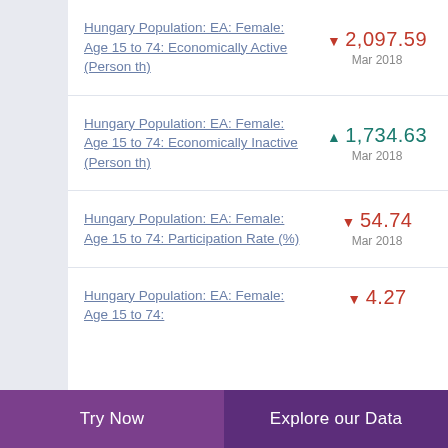Hungary Population: EA: Female: Age 15 to 74: Economically Active (Person th)
Hungary Population: EA: Female: Age 15 to 74: Economically Inactive (Person th)
Hungary Population: EA: Female: Age 15 to 74: Participation Rate (%)
Hungary Population: EA: Female: Age 15 to 74:
Try Now | Explore our Data